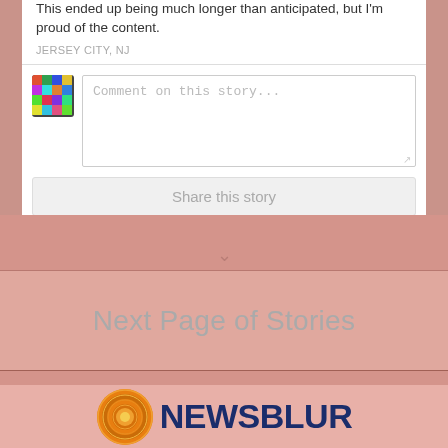This ended up being much longer than anticipated, but I'm proud of the content.
JERSEY CITY, NJ
Comment on this story...
Share this story
Next Page of Stories
[Figure (logo): NewsBlur logo with orange circular icon and dark blue bold text reading NEWSBLUR]